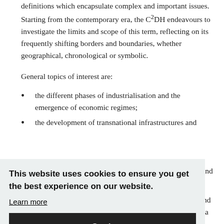definitions which encapsulate complex and important issues. Starting from the contemporary era, the C²DH endeavours to investigate the limits and scope of this term, reflecting on its frequently shifting borders and boundaries, whether geographical, chronological or symbolic.
General topics of interest are:
the different phases of industrialisation and the emergence of economic regimes;
the development of transnational infrastructures and
This website uses cookies to ensure you get the best experience on our website. Learn more Got it
can and
l and dia
norms and values.